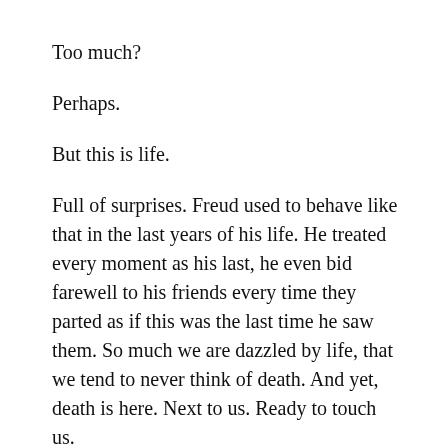Too much?
Perhaps.
But this is life.
Full of surprises. Freud used to behave like that in the last years of his life. He treated every moment as his last, he even bid farewell to his friends every time they parted as if this was the last time he saw them. So much we are dazzled by life, that we tend to never think of death. And yet, death is here. Next to us. Ready to touch us.
Let me tell you a story, as Steve Mcqueen said in the film...